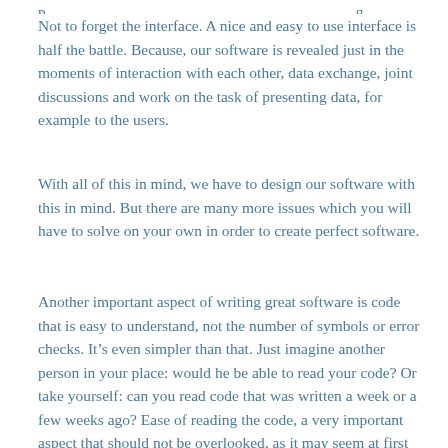Not to forget the interface. A nice and easy to use interface is half the battle. Because, our software is revealed just in the moments of interaction with each other, data exchange, joint discussions and work on the task of presenting data, for example to the users.
With all of this in mind, we have to design our software with this in mind. But there are many more issues which you will have to solve on your own in order to create perfect software.
Another important aspect of writing great software is code that is easy to understand, not the number of symbols or error checks. It’s even simpler than that. Just imagine another person in your place: would he be able to read your code? Or take yourself: can you read code that was written a week or a few weeks ago? Ease of reading the code, a very important aspect that should not be overlooked, as it may seem at first glance.